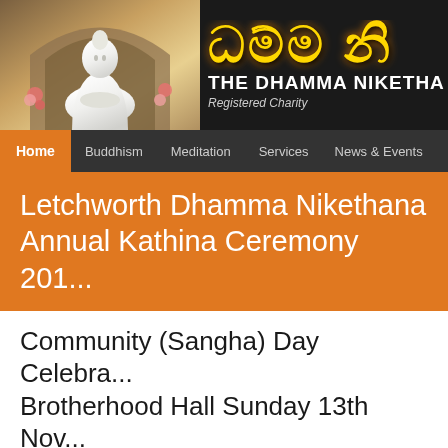[Figure (illustration): Website header banner showing a white Buddha statue in an ornate arch on the left, and Sinhala script text in gold on the right with 'THE DHAMMA NIKETHA' in white and 'Registered Charity' in italic below]
THE DHAMMA NIKETHA | Registered Charity
Home   Buddhism   Meditation   Services   News & Events
Letchworth Dhamma Nikethana Annual Kathina Ceremony 201...
Community (Sangha) Day Celebration Brotherhood Hall Sunday 13th Nov...
The Annual Kathina Ceremony of Letchworth Dhamma Niketha Meditation Centre was held on Sunday 13th November 2016 at... 13th consecutive Kathina Ceremony or Community Day (Sang...